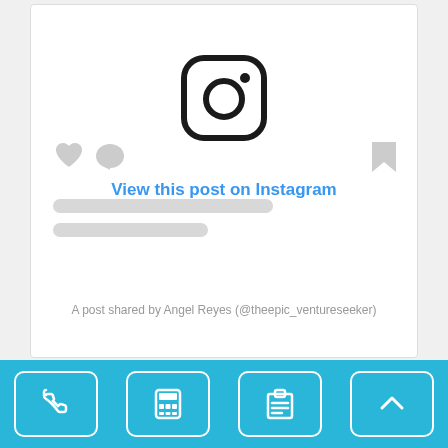[Figure (logo): Instagram logo icon — rounded square outline with circle and dot]
View this post on Instagram
[Figure (infographic): Instagram embed card UI with heart icon, comment icon, bookmark icon, and two placeholder grey loading lines]
A post shared by Angel Reyes (@theepic_ventureseeker)
[Figure (infographic): Bottom navigation bar with phone, calculator, clipboard, and up-arrow icons on blue background]